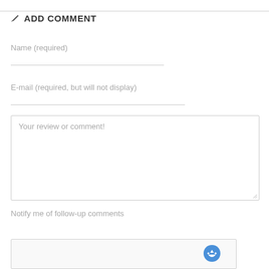ADD COMMENT
Name (required)
E-mail (required, but will not display)
Your review or comment!
Notify me of follow-up comments
[Figure (other): reCAPTCHA widget partially visible at the bottom of the page]